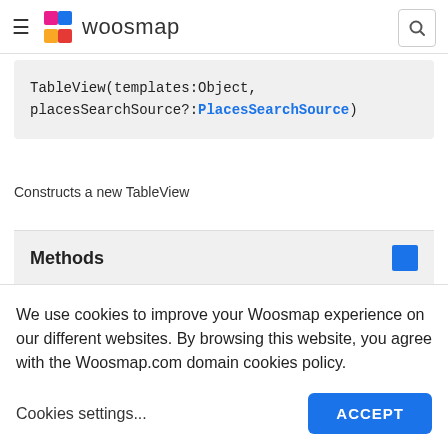woosmap
TableView(templates:Object, placesSearchSource?:PlacesSearchSource)
Constructs a new TableView
Methods
We use cookies to improve your Woosmap experience on our different websites. By browsing this website, you agree with the Woosmap.com domain cookies policy.
Cookies settings...
ACCEPT